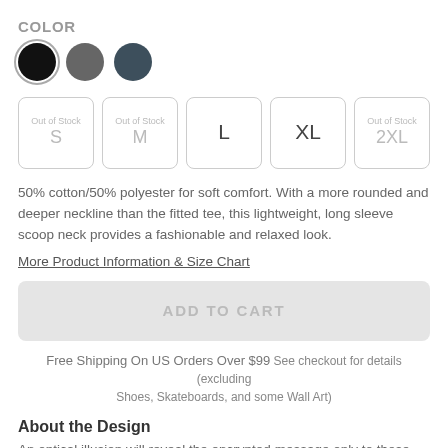COLOR
[Figure (illustration): Three color swatches: black (selected with outline), medium gray, dark slate blue]
[Figure (illustration): Five size selector buttons: S (Out of Stock), M (Out of Stock), L (available), XL (available), 2XL (Out of Stock)]
50% cotton/50% polyester for soft comfort. With a more rounded and deeper neckline than the fitted tee, this lightweight, long sleeve scoop neck provides a fashionable and relaxed look.
More Product Information & Size Chart
[Figure (illustration): ADD TO CART button (grayed out / disabled state)]
Free Shipping On US Orders Over $99 See checkout for details (excluding Shoes, Skateboards, and some Wall Art)
About the Design
An optical illusion will reveal the encrypted message only to those who are, actually, worthy. If you can read this, you can wear it.